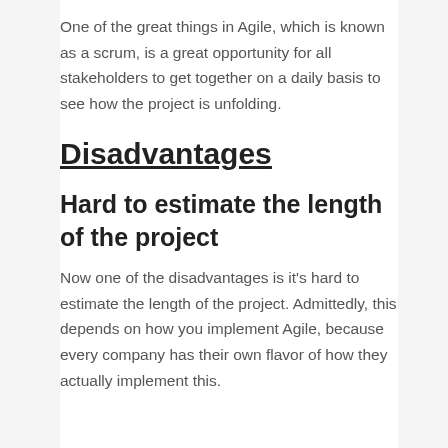One of the great things in Agile, which is known as a scrum, is a great opportunity for all stakeholders to get together on a daily basis to see how the project is unfolding.
Disadvantages
Hard to estimate the length of the project
Now one of the disadvantages is it's hard to estimate the length of the project. Admittedly, this depends on how you implement Agile, because every company has their own flavor of how they actually implement this.